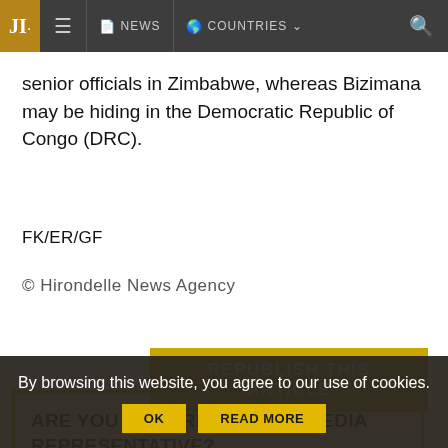JI. NEWS COUNTRIES
senior officials in Zimbabwe, whereas Bizimana may be hiding in the Democratic Republic of Congo (DRC).
FK/ER/GF
© Hirondelle News Agency
REPUBLISH THIS ARTICLE
ARE YOU A JOURNALIST OR MEDIA REPRESENTATIVE?
By browsing this website, you agree to our use of cookies. OK READ MORE